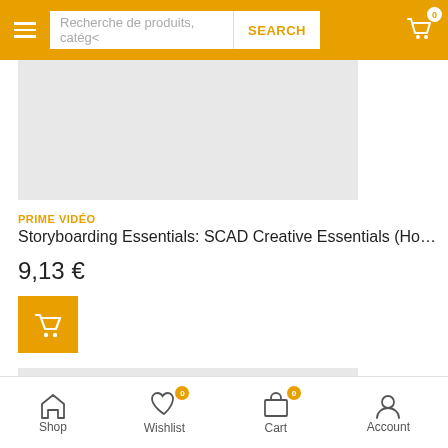Recherche de produits, catégo — SEARCH
[Figure (screenshot): Gray product image placeholder area for first product]
PRIME VIDÉO
Storyboarding Essentials: SCAD Creative Essentials (How to Trans...
9,13 €
[Figure (illustration): Add to cart button (orange with cart icon)]
[Figure (screenshot): Gray product image placeholder area for second product with NOUVEAUTÉS badge]
Shop  Wishlist 0  Cart 0  Account